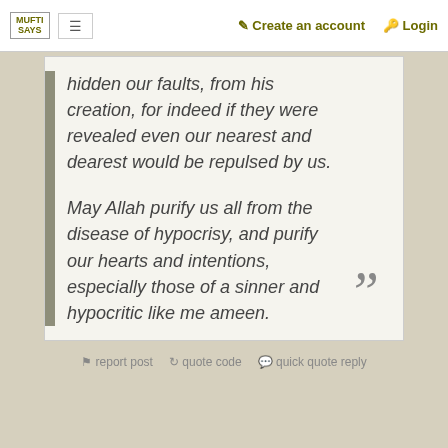MUFTI SAYS | Create an account | Login
hidden our faults, from his creation, for indeed if they were revealed even our nearest and dearest would be repulsed by us.

May Allah purify us all from the disease of hypocrisy, and purify our hearts and intentions, especially those of a sinner and hypocritic like me ameen.
report post · quote code · quick quote reply